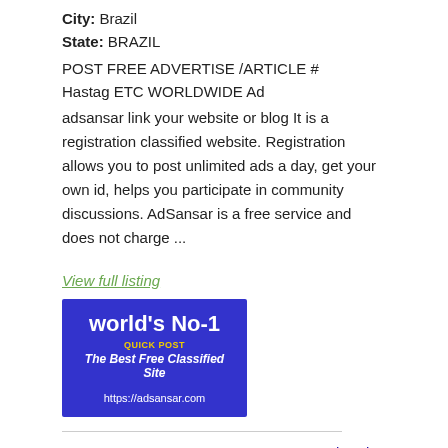City: Brazil
State: BRAZIL
POST FREE ADVERTISE /ARTICLE # Hastag ETC WORLDWIDE Ad adsansar link your website or blog It is a registration classified website. Registration allows you to post unlimited ads a day, get your own id, helps you participate in community discussions. AdSansar is a free service and does not charge ...
View full listing
[Figure (illustration): Blue banner ad for adsansar.com reading: world's No-1 QUICK POST The Best Free Classified Site https://adsansar.com]
POST FREE CLASSIFIED SITE IN Itaborai Brazil
Posted: over 2 years ago
City: Brazil
State: BRAZIL